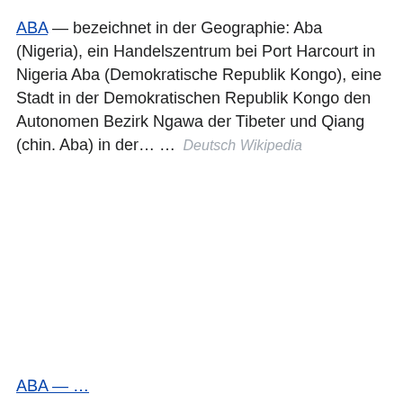ABA — bezeichnet in der Geographie: Aba (Nigeria), ein Handelszentrum bei Port Harcourt in Nigeria Aba (Demokratische Republik Kongo), eine Stadt in der Demokratischen Republik Kongo den Autonomen Bezirk Ngawa der Tibeter und Qiang (chin. Aba) in der… …   Deutsch Wikipedia
ABA — …